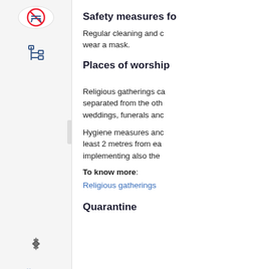[Figure (illustration): Sidebar navigation with icons: a circular no-entry/crossed-out bench icon, a tree/hierarchy icon, a gear/settings icon, and a double-arrow icon]
Safety measures fo
Regular cleaning and c wear a mask.
Places of worship
Religious gatherings ca separated from the oth weddings, funerals anc
Hygiene measures anc least 2 metres from ea implementing also the
To know more:
Religious gatherings
Quarantine